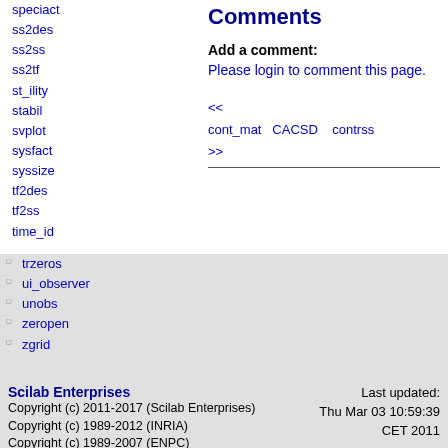speciact
ss2des
ss2ss
ss2tf
st_ility
stabil
svplot
sysfact
syssize
tf2des
tf2ss
time_id
trzeros
ui_observer
unobs
zeropen
zgrid
Comments
Add a comment: Please login to comment this page.
<< cont_mat  CACSD  contrss >>
Scilab Enterprises
Copyright (c) 2011-2017 (Scilab Enterprises)
Copyright (c) 1989-2012 (INRIA)
Copyright (c) 1989-2007 (ENPC)
with contributors
Last updated: Thu Mar 03 10:59:39 CET 2011